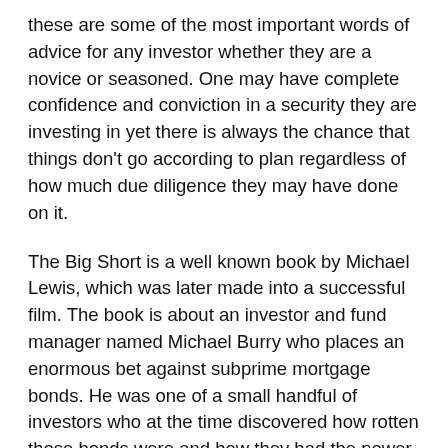these are some of the most important words of advice for any investor whether they are a novice or seasoned. One may have complete confidence and conviction in a security they are investing in yet there is always the chance that things don't go according to plan regardless of how much due diligence they may have done on it.
The Big Short is a well known book by Michael Lewis, which was later made into a successful film. The book is about an investor and fund manager named Michael Burry who places an enormous bet against subprime mortgage bonds. He was one of a small handful of investors who at the time discovered how rotten those bonds were and how they had the power to create an enormous financial crisis, which they eventually did in 2007-8. He placed his bet relatively early in around 2005. At the time, it was seen as a rather contrarian thing to do as the majority of